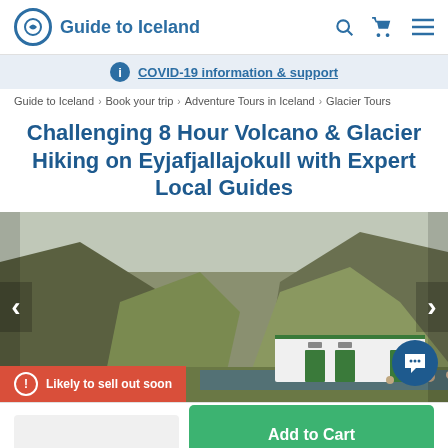Guide to Iceland
COVID-19 information & support
Guide to Iceland > Book your trip > Adventure Tours in Iceland > Glacier Tours
Challenging 8 Hour Volcano & Glacier Hiking on Eyjafjallajokull with Expert Local Guides
[Figure (photo): Photograph of a mountain valley with green hills and a white building with green doors beside a hot spring pool, with people bathing. Navigation arrows on left and right. Red 'Likely to sell out soon' badge at bottom left. Chat bubble icon at bottom right.]
Likely to sell out soon
Add to Cart